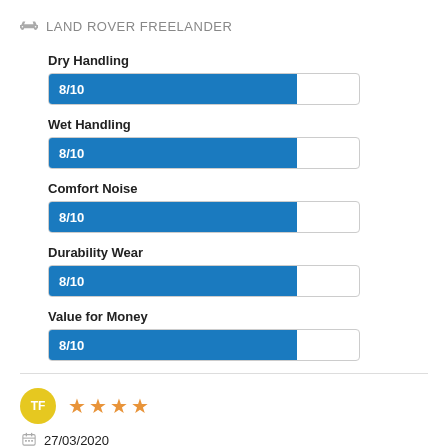LAND ROVER FREELANDER
[Figure (bar-chart): Ratings for Land Rover Freelander]
TF ★★★★ 27/03/2020